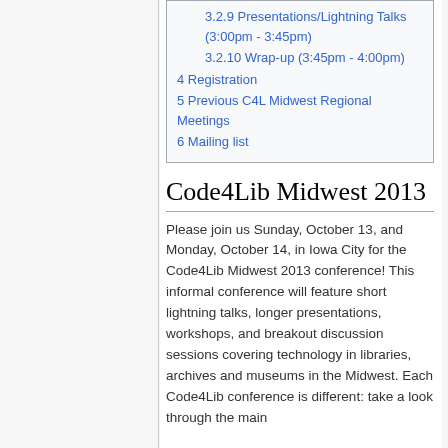3.2.9 Presentations/Lightning Talks (3:00pm - 3:45pm)
3.2.10 Wrap-up (3:45pm - 4:00pm)
4 Registration
5 Previous C4L Midwest Regional Meetings
6 Mailing list
Code4Lib Midwest 2013
Please join us Sunday, October 13, and Monday, October 14, in Iowa City for the Code4Lib Midwest 2013 conference! This informal conference will feature short lightning talks, longer presentations, workshops, and breakout discussion sessions covering technology in libraries, archives and museums in the Midwest. Each Code4Lib conference is different: take a look through the main